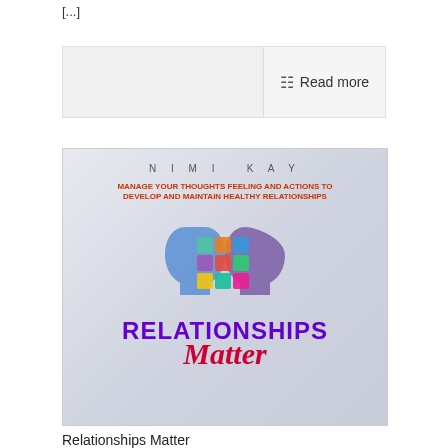[...]
[Figure (other): Read more button/bar UI element]
[Figure (illustration): Book cover for 'Relationships Matter' by Nimi Kay. Shows two human head silhouettes made of colorful puzzle pieces with subtitle 'Manage Your Thoughts Feeling and Actions to Develop and Maintain Healthy Relationships'. Title 'RELATIONSHIPS Matter' in purple and red italic text.]
Relationships Matter